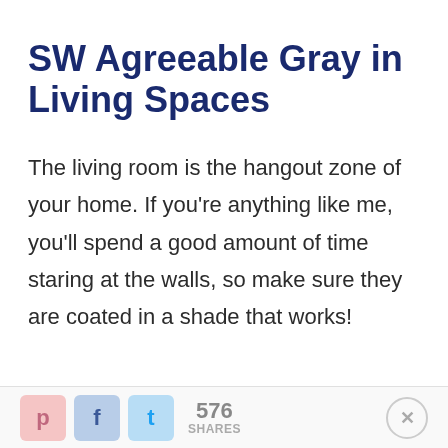SW Agreeable Gray in Living Spaces
The living room is the hangout zone of your home. If you're anything like me, you'll spend a good amount of time staring at the walls, so make sure they are coated in a shade that works!
576 SHARES